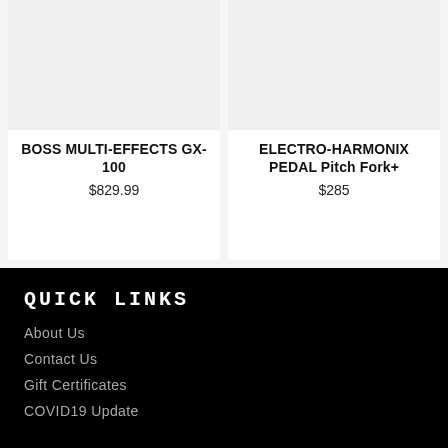[Figure (photo): Product image placeholder for BOSS MULTI-EFFECTS GX-100, light gray background]
BOSS MULTI-EFFECTS GX-100
$829.99
[Figure (photo): Product image placeholder for ELECTRO-HARMONIX PEDAL Pitch Fork+, light gray background]
ELECTRO-HARMONIX PEDAL Pitch Fork+
$285
QUICK LINKS
About Us
Contact Us
Gift Certificates
COVID19 Update